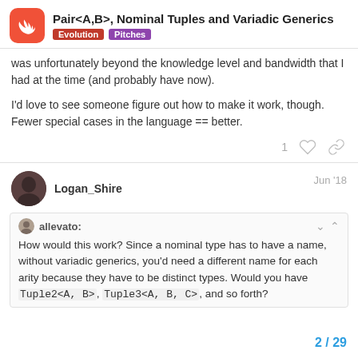Pair<A,B>, Nominal Tuples and Variadic Generics | Evolution | Pitches
was unfortunately beyond the knowledge level and bandwidth that I had at the time (and probably have now).
I'd love to see someone figure out how to make it work, though. Fewer special cases in the language == better.
Logan_Shire  Jun '18
allevato: How would this work? Since a nominal type has to have a name, without variadic generics, you'd need a different name for each arity because they have to be distinct types. Would you have Tuple2<A, B>, Tuple3<A, B, C>, and so forth?
2 / 29